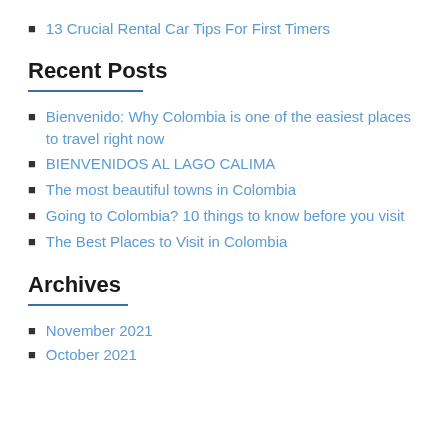13 Crucial Rental Car Tips For First Timers
Recent Posts
Bienvenido: Why Colombia is one of the easiest places to travel right now
BIENVENIDOS AL LAGO CALIMA
The most beautiful towns in Colombia
Going to Colombia? 10 things to know before you visit
The Best Places to Visit in Colombia
Archives
November 2021
October 2021